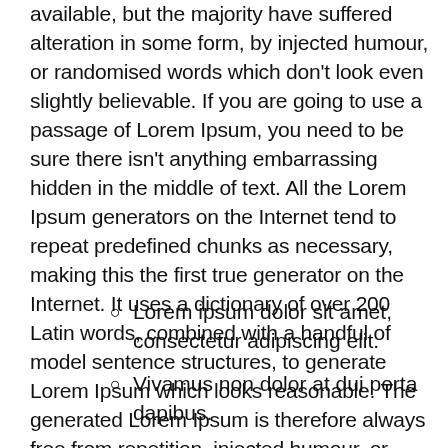available, but the majority have suffered alteration in some form, by injected humour, or randomised words which don't look even slightly believable. If you are going to use a passage of Lorem Ipsum, you need to be sure there isn't anything embarrassing hidden in the middle of text. All the Lorem Ipsum generators on the Internet tend to repeat predefined chunks as necessary, making this the first true generator on the Internet. It uses a dictionary of over 200 Latin words, combined with a handful of model sentence structures, to generate Lorem Ipsum which looks reasonable. The generated Lorem Ipsum is therefore always free from repetition, injected humour, or non-characteristic words etc.
Lorem ipsum dolor sit amet, consectetur adipiscing elit.
Vivamus non dolor at dui porta dapibus.
Etiam tincidunt ipsum id sagittis